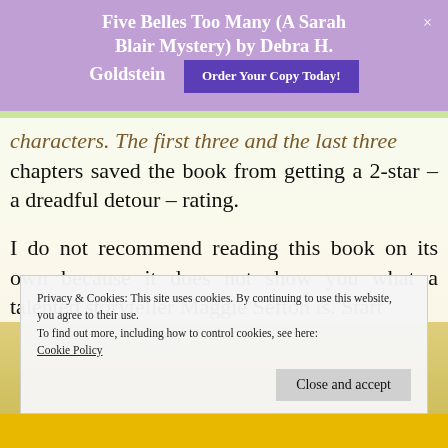Five Belles Too Many (A Sarah Blair Mystery) by Debra H. Goldstein
characters. The first three and the last three chapters saved the book from getting a 2-star – a dreadful detour – rating.
I do not recommend reading this book on its own because it does not show you what a talented storyteller Maggie Sefton is. Start
Privacy & Cookies: This site uses cookies. By continuing to use this website, you agree to their use.
To find out more, including how to control cookies, see here:
Cookie Policy
Close and accept